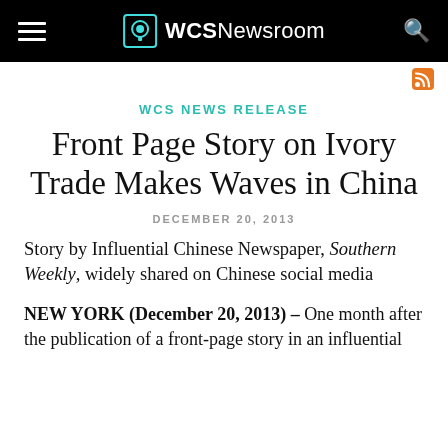WCSNewsroom
WCS NEWS RELEASE
Front Page Story on Ivory Trade Makes Waves in China
DECEMBER 20, 2013
Story by Influential Chinese Newspaper, Southern Weekly, widely shared on Chinese social media
NEW YORK (December 20, 2013) – One month after the publication of a front-page story in an influential